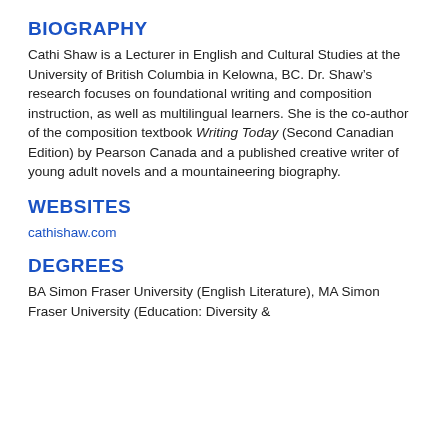BIOGRAPHY
Cathi Shaw is a Lecturer in English and Cultural Studies at the University of British Columbia in Kelowna, BC. Dr. Shaw’s research focuses on foundational writing and composition instruction, as well as multilingual learners. She is the co-author of the composition textbook Writing Today (Second Canadian Edition) by Pearson Canada and a published creative writer of young adult novels and a mountaineering biography.
WEBSITES
cathishaw.com
DEGREES
BA Simon Fraser University (English Literature), MA Simon Fraser University (Education: Diversity &